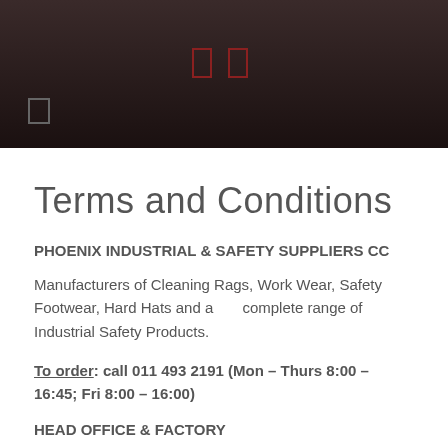[Header banner with icons]
Terms and Conditions
PHOENIX INDUSTRIAL & SAFETY SUPPLIERS CC
Manufacturers of Cleaning Rags, Work Wear, Safety Footwear, Hard Hats and a complete range of Industrial Safety Products.
To order: call 011 493 2191 (Mon – Thurs 8:00 – 16:45; Fri 8:00 – 16:00)
HEAD OFFICE & FACTORY